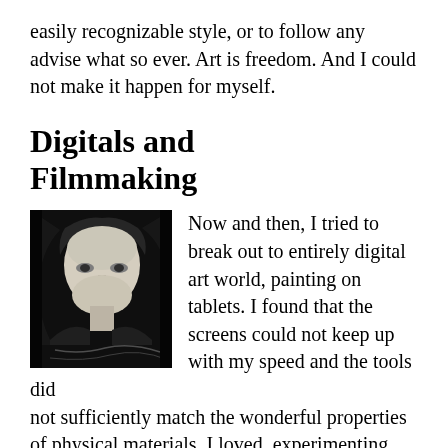easily recognizable style, or to follow any advise what so ever. Art is freedom. And I could not make it happen for myself.
Digitals and Filmmaking
[Figure (photo): Black and white portrait photo of a woman with long light hair, high contrast monochrome style]
Now and then, I tried to break out to entirely digital art world, painting on tablets. I found that the screens could not keep up with my speed and the tools did not sufficiently match the wonderful properties of physical materials. I loved  experimenting with 3D, but the process lacked spontaneity and the results did not give the immediacy of perception - one needed to turn the piece around in a special setup.